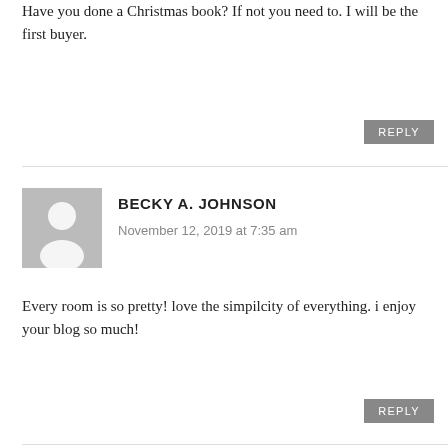Have you done a Christmas book? If not you need to. I will be the first buyer.
[Figure (illustration): User avatar silhouette placeholder - grey square with white person icon]
BECKY A. JOHNSON
November 12, 2019 at 7:35 am
Every room is so pretty! love the simpilcity of everything. i enjoy your blog so much!
SHARE YOUR THOUGHTS
Your email address will not be published. Required fields are marked *